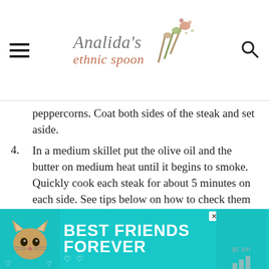Analida's ethnic spoon
peppercorns. Coat both sides of the steak and set aside.
4. In a medium skillet put the olive oil and the butter on medium heat until it begins to smoke. Quickly cook each steak for about 5 minutes on each side. See tips below on how to check them for doneness. Set aside on a plate and cover them. Turn off the heat.
5. Add VSOP to the pan and ignite the alcohol with a long match stick. (BE CAREFUL: Keep a pan lid close by or fire extinguisher, just in case! Use some fireproof gloves too)
[Figure (photo): Advertisement banner with teal background showing a cat and text BEST FRIENDS FOREVER]